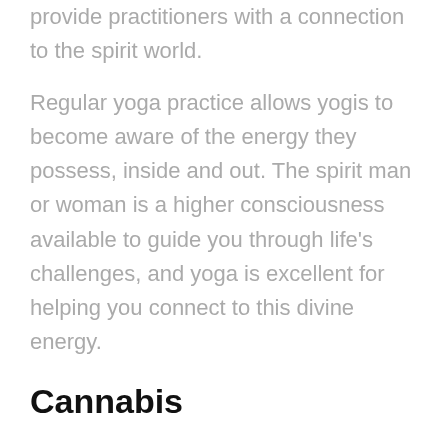provide practitioners with a connection to the spirit world.
Regular yoga practice allows yogis to become aware of the energy they possess, inside and out. The spirit man or woman is a higher consciousness available to guide you through life's challenges, and yoga is excellent for helping you connect to this divine energy.
Cannabis
Cannabis has been a mainstay in several cultural movements. Many musicians and other artists have admitted to smoking marijuana to connect with the creativity they know is present within